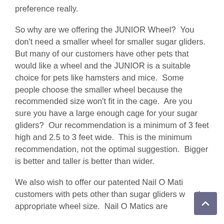preference really.
So why are we offering the JUNIOR Wheel?  You don't need a smaller wheel for smaller sugar gliders.  But many of our customers have other pets that would like a wheel and the JUNIOR is a suitable choice for pets like hamsters and mice.  Some people choose the smaller wheel because the recommended size won't fit in the cage.  Are you sure you have a large enough cage for your sugar gliders?  Our recommendation is a minimum of 3 feet high and 2.5 to 3 feet wide.  This is the minimum recommendation, not the optimal suggestion.  Bigger is better and taller is better than wider.
We also wish to offer our patented Nail O Matics customers with pets other than sugar gliders with the appropriate wheel size.  Nail O Matics are